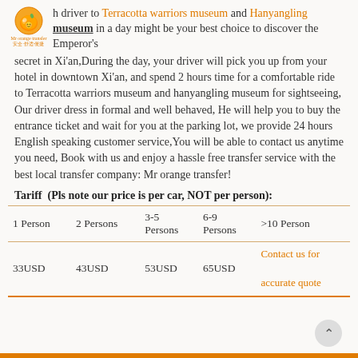Mr orange transfer [logo]
h driver to Terracotta warriors museum and Hanyangling museum in a day might be your best choice to discover the Emperor's secret in Xi'an,During the day, your driver will pick you up from your hotel in downtown Xi'an, and spend 2 hours time for a comfortable ride to Terracotta warriors museum and hanyangling museum for sightseeing, Our driver dress in formal and well behaved, He will help you to buy the entrance ticket and wait for you at the parking lot, we provide 24 hours English speaking customer service,You will be able to contact us anytime you need, Book with us and enjoy a hassle free transfer service with the best local transfer company: Mr orange transfer!
Tariff  (Pls note our price is per car, NOT per person):
| 1 Person | 2 Persons | 3-5 Persons | 6-9 Persons | >10 Person |
| --- | --- | --- | --- | --- |
| 33USD | 43USD | 53USD | 65USD | Contact us for accurate quote |